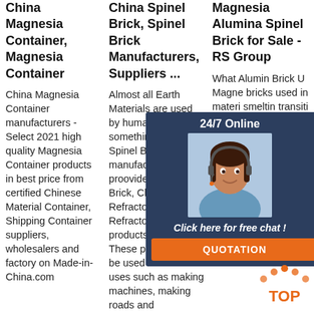China Magnesia Container, Magnesia Container
China Magnesia Container manufacturers - Select 2021 high quality Magnesia Container products in best price from certified Chinese Material Container, Shipping Container suppliers, wholesalers and factory on Made-in-China.com
China Spinel Brick, Spinel Brick Manufacturers, Suppliers ...
Almost all Earth Materials are used by humans for something. The Spinel Brick manufacturers proovide China Brick, China Refractory, Refractory Product products with 1. These products can be used for different uses such as making machines, making roads and
Magnesia Alumina Spinel Brick for Sale - RS Group
What Alumin Brick U Magne bricks used in materi smeltin transiti cemen kilns, glass industrial furnaces and lime kilns. The service life magnesia-spinel bricks in the cooling zone and
[Figure (illustration): 24/7 Online chat widget with a woman wearing a headset, dark blue background, orange QUOTATION button, and 'Click here for free chat!' text]